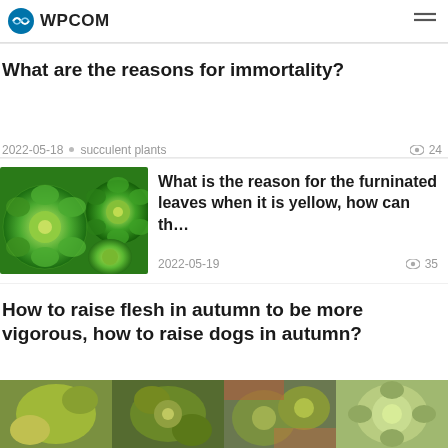WPCOM
What are the reasons for immortality?
2022-05-18 • succulent plants  24
[Figure (photo): Close-up of green succulent rosettes]
What is the reason for the furninated leaves when it is yellow, how can th…
2022-05-19  35
How to raise flesh in autumn to be more vigorous, how to raise dogs in autumn?
[Figure (photo): Row of four succulent plant thumbnails at bottom of page]